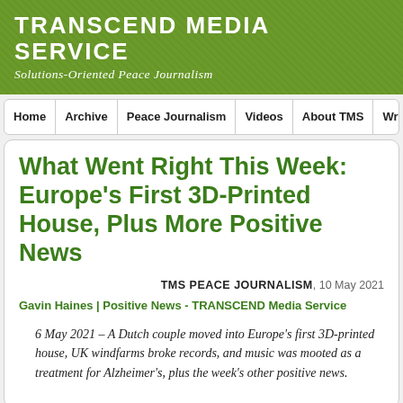TRANSCEND MEDIA SERVICE
Solutions-Oriented Peace Journalism
Home | Archive | Peace Journalism | Videos | About TMS | Write to Antonio (e
What Went Right This Week: Europe's First 3D-Printed House, Plus More Positive News
TMS PEACE JOURNALISM, 10 May 2021
Gavin Haines | Positive News - TRANSCEND Media Service
6 May 2021 – A Dutch couple moved into Europe's first 3D-printed house, UK windfarms broke records, and music was mooted as a treatment for Alzheimer's, plus the week's other positive news.